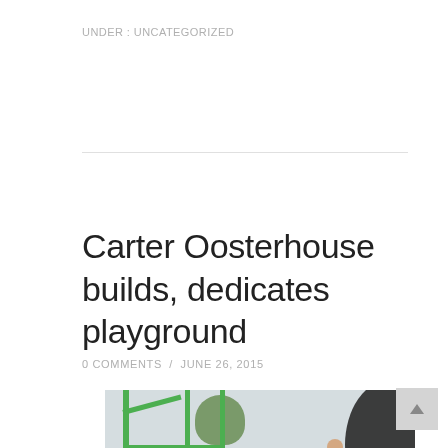UNDER : UNCATEGORIZED
Carter Oosterhouse builds, dedicates playground
0 COMMENTS / JUNE 26, 2015
[Figure (photo): Photo of a playground with green metal equipment bars. A child in overalls is visible near the equipment. A large dark circular object is on the right edge. Trees visible in background.]